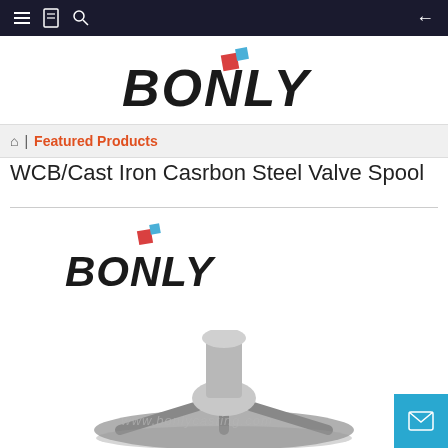Navigation bar with menu, bookmark, search icons and back arrow
[Figure (logo): BONLY company logo with red and blue accent squares]
🏠 | Featured Products
WCB/Cast Iron Casrbon Steel Valve Spool
[Figure (logo): Smaller BONLY company logo]
[Figure (photo): Photo of a cast iron/carbon steel valve spool component, gray metal part with cylindrical post and wheel-like base, with www.bonlycasting.com watermark]